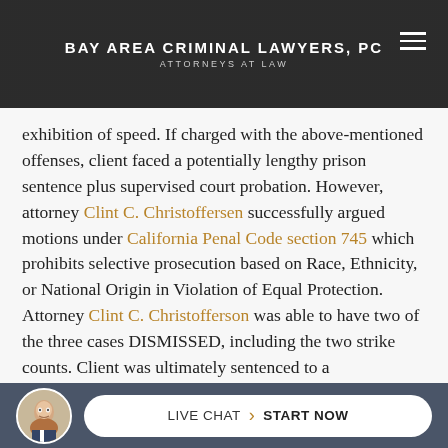BAY AREA CRIMINAL LAWYERS, PC
ATTORNEYS AT LAW
exhibition of speed. If charged with the above-mentioned offenses, client faced a potentially lengthy prison sentence plus supervised court probation. However, attorney Clint C. Christoffersen successfully argued motions under California Penal Code section 745 which prohibits selective prosecution based on Race, Ethnicity, or National Origin in Violation of Equal Protection. Attorney Clint C. Christofferson was able to have two of the three cases DISMISSED, including the two strike counts. Client was ultimately sentenced to a
LIVE CHAT | START NOW